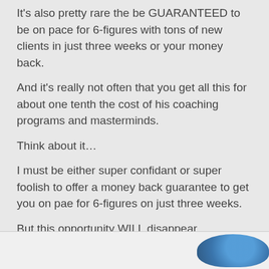It's also pretty rare the be GUARANTEED to be on pace for 6-figures with tons of new clients in just three weeks or your money back.
And it's really not often that you get all this for about one tenth the cost of his coaching programs and masterminds.
Think about it…
I must be either super confidant or super foolish to offer a money back guarantee to get you on pae for 6-figures on just three weeks.
But this opportunity WILL disappear TUESDAY (2/15) at midnight.
[Figure (photo): Partial image at bottom of page, appears to show product or promotional imagery with blue circular logo element on the right side.]